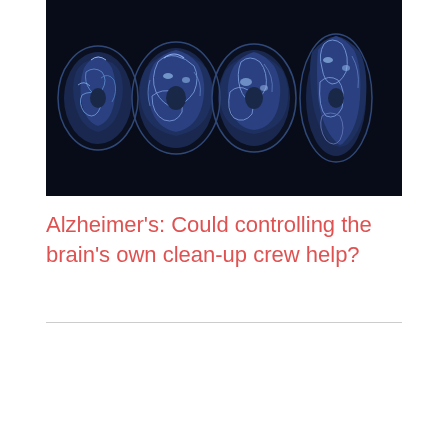[Figure (photo): Dark, high-contrast MRI brain scan images showing multiple cross-sections of the brain arranged in a row against a black background, with blue-white tones highlighting brain structures.]
Alzheimer's: Could controlling the brain's own clean-up crew help?